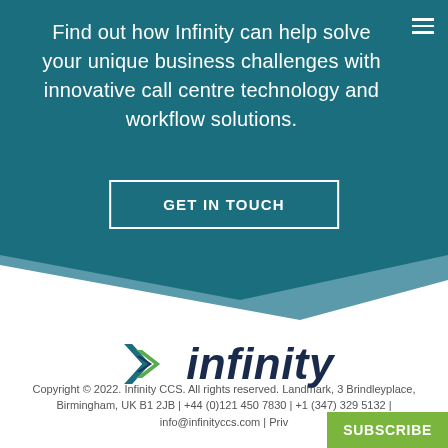Find out how Infinity can help solve your unique business challenges with innovative call centre technology and workflow solutions.
GET IN TOUCH
[Figure (logo): Infinity CCS logo with geometric arrow/chevron mark in teal and green, followed by italic text 'infinity' in dark navy]
Copyright © 2022. Infinity CCS. All rights reserved. Landmark, 3 Brindleyplace, Birmingham, UK B1 2JB | +44 (0)121 450 7830 | +1 (347) 329 5132 | info@infinityccs.com | Priv
SUBSCRIBE